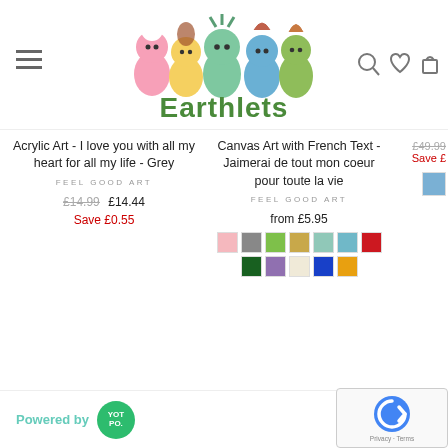[Figure (logo): Earthlets logo with cartoon characters and green text]
Acrylic Art - I love you with all my heart for all my life - Grey
FEEL GOOD ART
£14.99  £14.44  Save £0.55
Canvas Art with French Text - Jaimerai de tout mon coeur pour toute la vie
FEEL GOOD ART
from £5.95
£49.99  Save £
Powered by YOTPO
Privacy · Terms